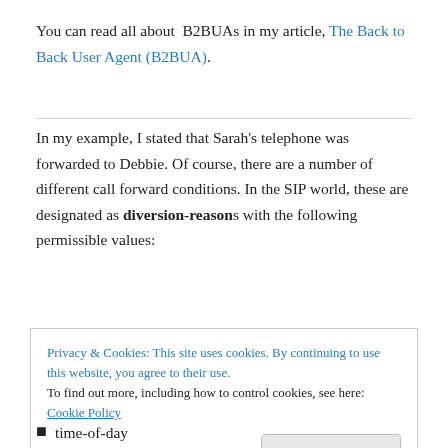You can read all about B2BUAs in my article, The Back to Back User Agent (B2BUA).
In my example, I stated that Sarah's telephone was forwarded to Debbie. Of course, there are a number of different call forward conditions. In the SIP world, these are designated as diversion-reasons with the following permissible values:
Privacy & Cookies: This site uses cookies. By continuing to use this website, you agree to their use.
To find out more, including how to control cookies, see here: Cookie Policy
Close and accept
time-of-day